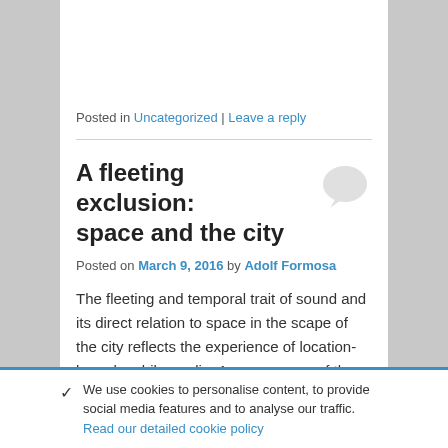Posted in Uncategorized | Leave a reply
A fleeting exclusion: space and the city
Posted on March 9, 2016 by Adolf Formosa
The fleeting and temporal trait of sound and its direct relation to space in the scape of the city reflects the experience of location-based mobile media. An awareness of the prominent positioning of sound, which is often overshadowed by the visual, is brought to the forefront in the embodied active experience of walking to the remix of designed sound or sound art through the city.
✓ We use cookies to personalise content, to provide social media features and to analyse our traffic. Read our detailed cookie policy